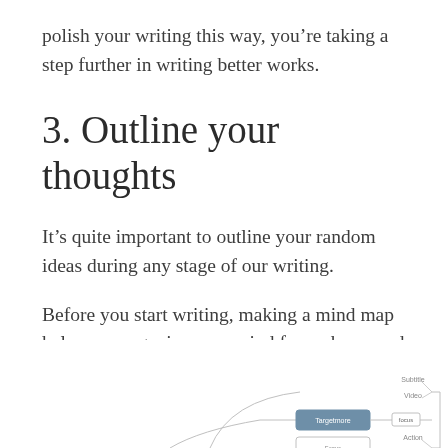polish your writing this way, you're taking a step further in writing better works.
3. Outline your thoughts
It's quite important to outline your random ideas during any stage of our writing.
Before you start writing, making a mind map helps you organize your mind from chaos, and figure out your main focus for your upcoming work.
[Figure (other): Partial view of a mind map diagram showing a node labeled 'Targetmore' connected to other nodes including 'focus', 'Video', 'Subtitle', and 'Action' within a branching structure.]